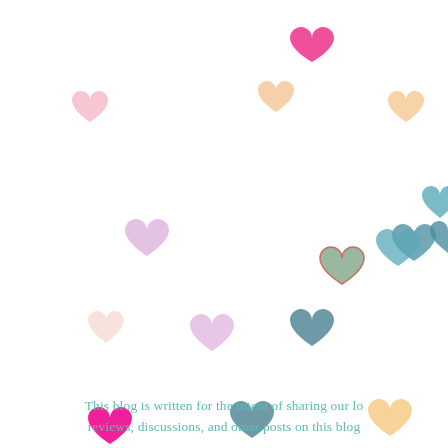[Figure (illustration): Scattered colorful pastel heart shapes of various sizes on a white background. Hearts are in shades of pink, magenta, teal, mint, peach, lavender, sage green, coral, and light beige, distributed randomly across the image.]
This blog is written for the intent of sharing our lo reviews, discussions, and other posts on this blog